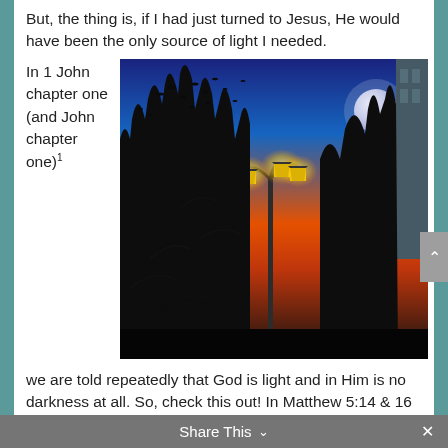But, the thing is, if I had just turned to Jesus, He would have been the only source of light I needed.
In 1 John chapter one (and John chapter one)¹
[Figure (photo): Night photo showing street lamps glowing warmly against a dark blue sky with a full moon, bare tree silhouettes, and birds in flight.]
we are told repeatedly that God is light and in Him is no darkness at all. So, check this out! In Matthew 5:14 & 16 Jesus says, “You are the light of the world. A city that is set on a hill cannot be hidden . . . Let your light so shine before men, that they may see your good works and glorify your Father in heaven.”
Share This ∨  ×